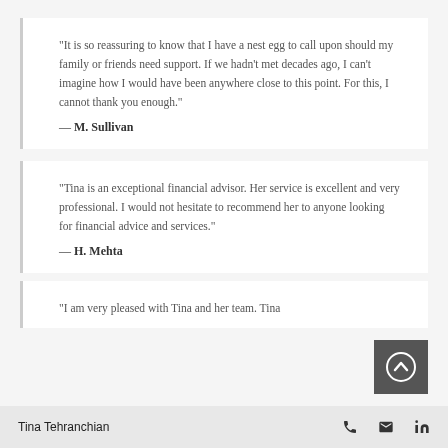"It is so reassuring to know that I have a nest egg to call upon should my family or friends need support. If we hadn't met decades ago, I can't imagine how I would have been anywhere close to this point. For this, I cannot thank you enough."
— M. Sullivan
"Tina is an exceptional financial advisor. Her service is excellent and very professional. I would not hesitate to recommend her to anyone looking for financial advice and services."
— H. Mehta
"I am very pleased with Tina and her team. Tina
Tina Tehranchian